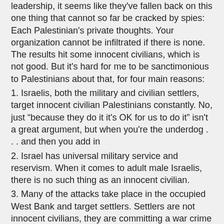leadership, it seems like they've fallen back on this one thing that cannot so far be cracked by spies: Each Palestinian's private thoughts. Your organization cannot be infiltrated if there is none. The results hit some innocent civilians, which is not good. But it's hard for me to be sanctimonious to Palestinians about that, for four main reasons:
1. Israelis, both the military and civilian settlers, target innocent civilian Palestinians constantly. No, just “because they do it it's OK for us to do it” isn't a great argument, but when you're the underdog . . . and then you add in
2. Israel has universal military service and reservism. When it comes to adult male Israelis, there is no such thing as an innocent civilian.
3. Many of the attacks take place in the occupied West Bank and target settlers. Settlers are not innocent civilians, they are committing a war crime by the act of settling on land occupied by aggressive war.
4. Israel is a democracy. There are practically no political parties calling for de-occupying the West Bank; those that do exist get vanishingly few votes (except from the Israeli Arab population). Anyone who voted for anyone else, which is to say nearly everyone who voted, is an active supporter of continued